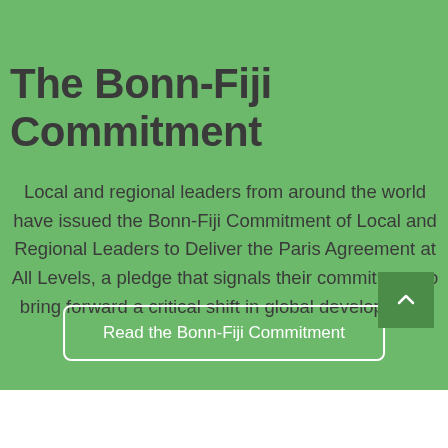The Bonn-Fiji Commitment
Local and regional leaders from around the world have issued the Bonn-Fiji Commitment of Local and Regional Leaders to Deliver the Paris Agreement at All Levels, a pledge that signals their commitment to bring forward a critical shift in global development.
Read the Bonn-Fiji Commitment